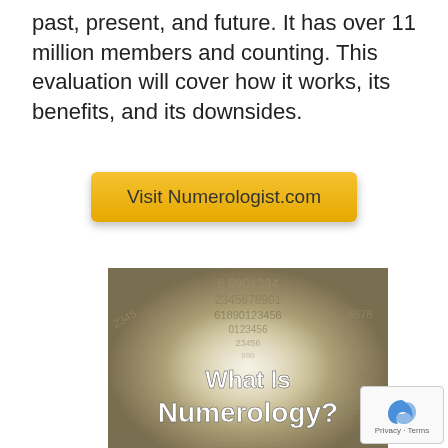past, present, and future. It has over 11 million members and counting. This evaluation will cover how it works, its benefits, and its downsides.
[Figure (other): Yellow button with text 'Visit Numerologist.com']
[Figure (photo): Image of numbers arranged in a tunnel/vortex pattern with text overlay reading 'What Is Numerology?']